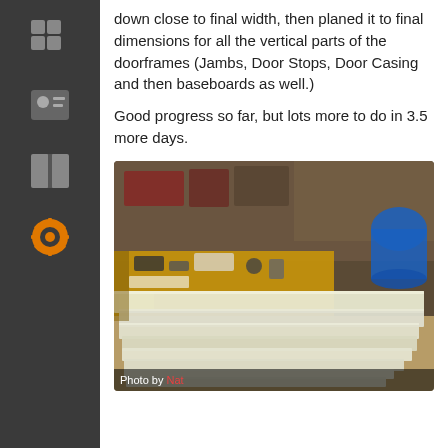down close to final width, then planed it to final dimensions for all the vertical parts of the doorframes (Jambs, Door Stops, Door Casing and then baseboards as well.)
Good progress so far, but lots more to do in 3.5 more days.
[Figure (photo): Workshop photo showing long white/cream painted wood planks (door jambs, door stops, door casing, baseboards) stacked in the foreground on a wooden floor, with a workbench covered in tools, drills, papers, and supplies visible in the background, along with shelving and a blue barrel.]
Photo by Nat